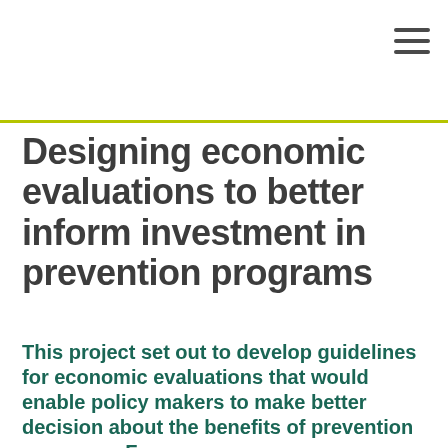Designing economic evaluations to better inform investment in prevention programs
This project set out to develop guidelines for economic evaluations that would enable policy makers to make better decision about the benefits of prevention programs. For a